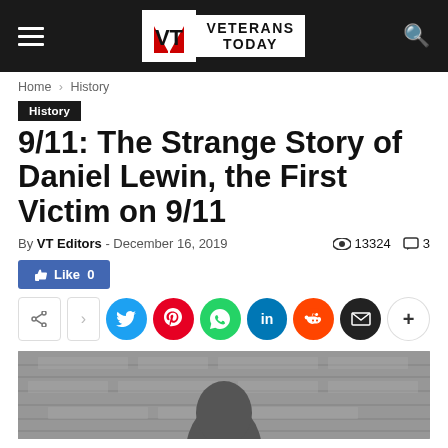VETERANS TODAY
Home > History
History
9/11: The Strange Story of Daniel Lewin, the First Victim on 9/11
By VT Editors - December 16, 2019   13324   3
Like 0
[Figure (screenshot): Social share buttons: share, Twitter, Pinterest, WhatsApp, LinkedIn, Reddit, Email, more]
[Figure (photo): Black and white photo of Daniel Lewin, a man with dark hair, against a textured wall background]